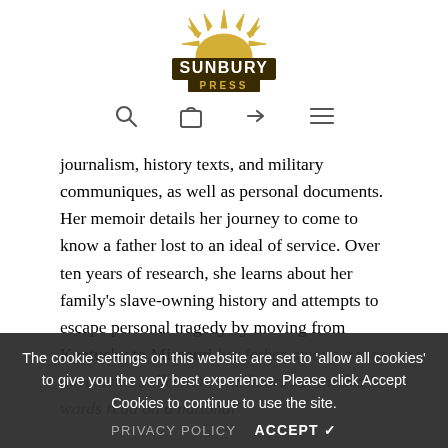[Figure (logo): Sunbury Press logo: golden sun rising behind dark brown block letters 'SUNBURY' with 'PRESS' below on a dark background banner]
[Figure (infographic): Navigation icon row: search (magnifying glass), shopping bag, sign-in arrow, hamburger menu]
journalism, history texts, and military communiques, as well as personal documents. Her memoir details her journey to come to know a father lost to an ideal of service. Over ten years of research, she learns about her family’s slave-owning history and attempts to escape personal tragedy by moving from Kentucky to Missouri
her father among a rare documents collection, and hears her mother’s words read on a national
The cookie settings on this website are set to ‘allow all cookies’ to give you the very best experience. Please click Accept Cookies to continue to use the site.
PRIVACY POLICY    ACCEPT ✓